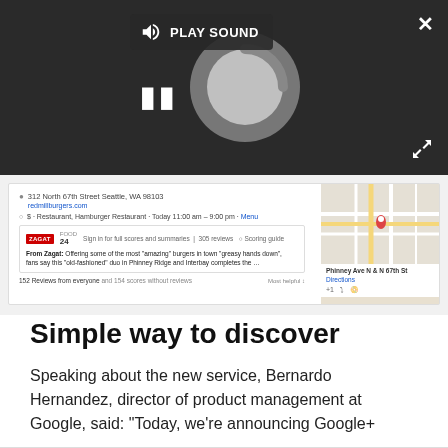[Figure (screenshot): Dark video player overlay with PLAY SOUND button, pause icon, spinning loading circle, close (X) button, and expand arrows button]
[Figure (screenshot): Google Places page for a hamburger restaurant showing address '312 North 67th Street Seattle, WA 98103', phone '(206) 284-6363', redmillburgers.com, category '$, Restaurant, Hamburger Restaurant', Zagat score FOOD 24, 305 reviews, excerpt from Zagat review mentioning Phinney Ridge and Interbay, '152 Reviews from everyone', and a small map panel showing 'Phinney Ave N & N 67th St' with Directions link]
Simple way to discover
Speaking about the new service, Bernardo Hernandez, director of product management at Google, said: "Today, we're announcing Google+